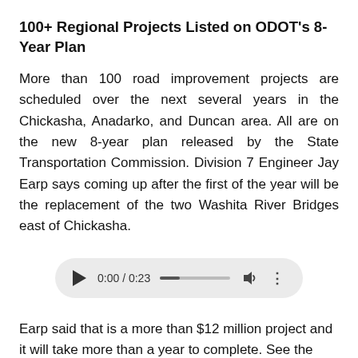100+ Regional Projects Listed on ODOT's 8-Year Plan
More than 100 road improvement projects are scheduled over the next several years in the Chickasha, Anadarko, and Duncan area. All are on the new 8-year plan released by the State Transportation Commission. Division 7 Engineer Jay Earp says coming up after the first of the year will be the replacement of the two Washita River Bridges east of Chickasha.
[Figure (other): Audio player widget showing 0:00 / 0:23 with play button, progress bar, volume icon, and more options icon]
Earp said that is a more than $12 million project and it will take more than a year to complete. See the entire list of the eight-year plan on the State Department of